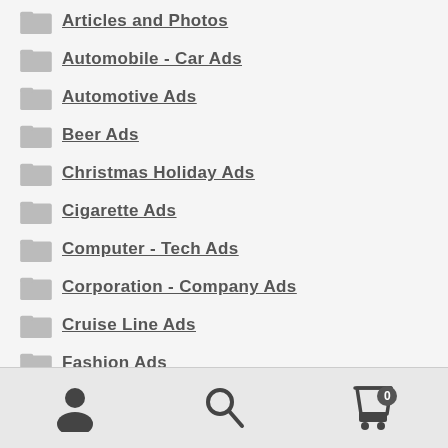Articles and Photos
Automobile - Car Ads
Automotive Ads
Beer Ads
Christmas Holiday Ads
Cigarette Ads
Computer - Tech Ads
Corporation - Company Ads
Cruise Line Ads
Fashion Ads
Finance & Bank Ads
User | Search | Cart (0)